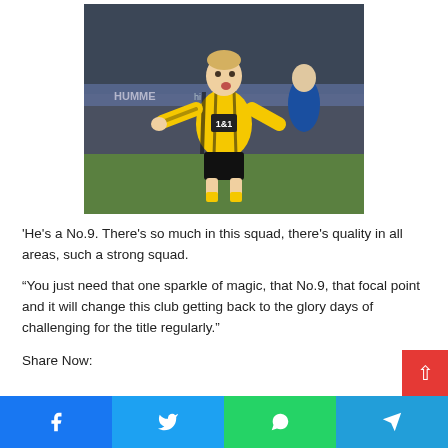[Figure (photo): Erling Haaland in Borussia Dortmund yellow and black jersey celebrating, with Schalke player in blue in background]
'He's a No.9. There's so much in this squad, there's quality in all areas, such a strong squad.
“You just need that one sparkle of magic, that No.9, that focal point and it will change this club getting back to the glory days of challenging for the title regularly.”
Share Now:
[Figure (infographic): Social share bar with Facebook, Twitter, WhatsApp, and Telegram buttons]